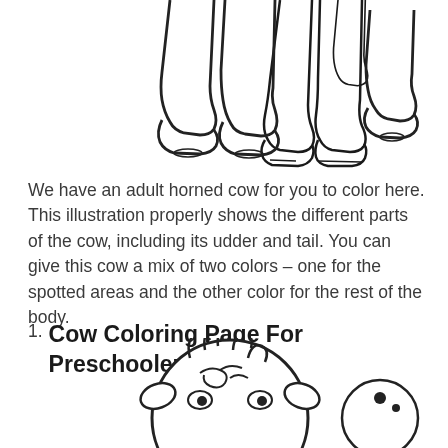[Figure (illustration): Line drawing of cow legs and hooves — three legs visible at top of page, partially cropped]
We have an adult horned cow for you to color here. This illustration properly shows the different parts of the cow, including its udder and tail. You can give this cow a mix of two colors – one for the spotted areas and the other color for the rest of the body.
1. Cow Coloring Page For Preschoolers:
[Figure (illustration): Line drawing of a cute cartoon cow head, partially cropped at bottom of page]